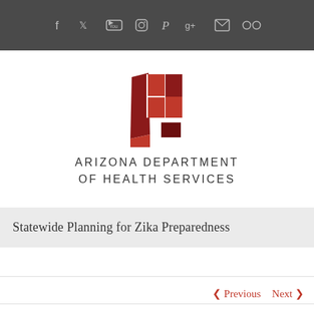Social media icons: Facebook, Twitter, YouTube, Instagram, Pinterest, Google+, Email, Flickr
[Figure (logo): Arizona Department of Health Services logo — abstract geometric design with red and dark red rectangles arranged in a pinwheel-like pattern]
ARIZONA DEPARTMENT OF HEALTH SERVICES
Statewide Planning for Zika Preparedness
< Previous   Next >